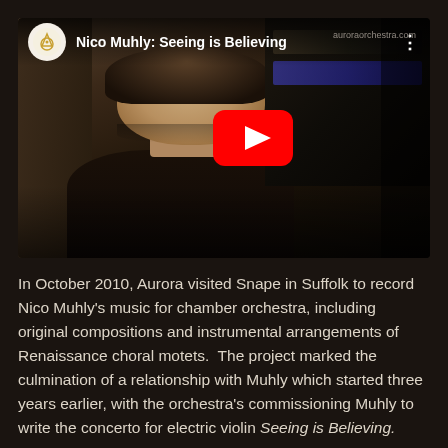[Figure (screenshot): YouTube video thumbnail for 'Nico Muhly: Seeing is Believing' showing a young man looking downward with a piano in the background, overlaid with the YouTube play button. The Aurora Orchestra channel logo and video title appear in the top bar. Watermark 'auroraorchestra.com' visible in top right.]
In October 2010, Aurora visited Snape in Suffolk to record Nico Muhly's music for chamber orchestra, including original compositions and instrumental arrangements of Renaissance choral motets.  The project marked the culmination of a relationship with Muhly which started three years earlier, with the orchestra's commissioning Muhly to write the concerto for electric violin Seeing is Believing.